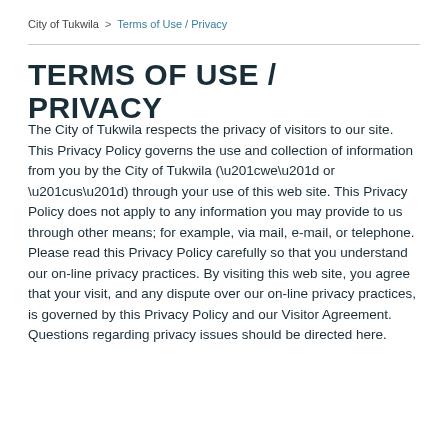City of Tukwila > Terms of Use / Privacy
TERMS OF USE / PRIVACY
The City of Tukwila respects the privacy of visitors to our site. This Privacy Policy governs the use and collection of information from you by the City of Tukwila (“we” or “us”) through your use of this web site. This Privacy Policy does not apply to any information you may provide to us through other means; for example, via mail, e-mail, or telephone. Please read this Privacy Policy carefully so that you understand our on-line privacy practices. By visiting this web site, you agree that your visit, and any dispute over our on-line privacy practices, is governed by this Privacy Policy and our Visitor Agreement. Questions regarding privacy issues should be directed here.